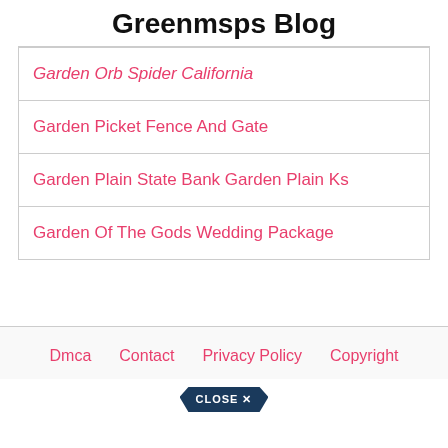Greenmsps Blog
Garden Orb Spider California
Garden Picket Fence And Gate
Garden Plain State Bank Garden Plain Ks
Garden Of The Gods Wedding Package
Dmca   Contact   Privacy Policy   Copyright